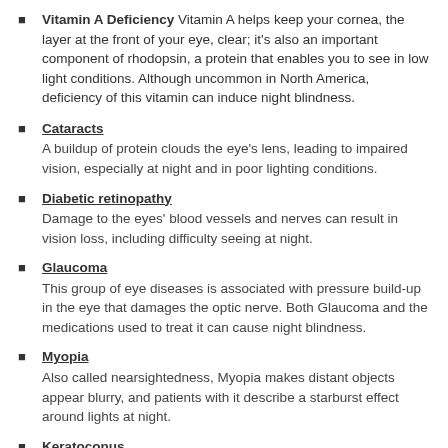Vitamin A Deficiency: Vitamin A helps keep your cornea, the layer at the front of your eye, clear; it's also an important component of rhodopsin, a protein that enables you to see in low light conditions. Although uncommon in North America, deficiency of this vitamin can induce night blindness.
Cataracts: A buildup of protein clouds the eye's lens, leading to impaired vision, especially at night and in poor lighting conditions.
Diabetic retinopathy: Damage to the eyes' blood vessels and nerves can result in vision loss, including difficulty seeing at night.
Glaucoma: This group of eye diseases is associated with pressure build-up in the eye that damages the optic nerve. Both Glaucoma and the medications used to treat it can cause night blindness.
Myopia: Also called nearsightedness, Myopia makes distant objects appear blurry, and patients with it describe a starburst effect around lights at night.
Keratoconus